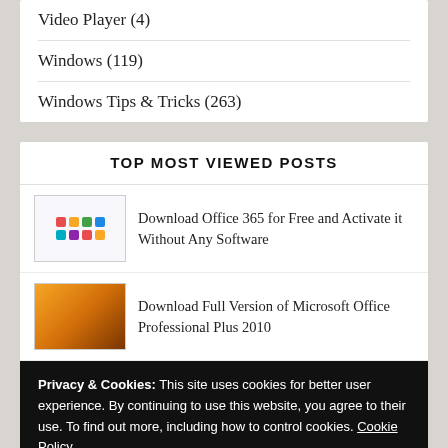Video Player (4)
Windows (119)
Windows Tips & Tricks (263)
TOP MOST VIEWED POSTS
Download Office 365 for Free and Activate it Without Any Software
Download Full Version of Microsoft Office Professional Plus 2010
Privacy & Cookies: This site uses cookies for better user experience. By continuing to use this website, you agree to their use. To find out more, including how to control cookies. Cookie Policy
Accept & Close